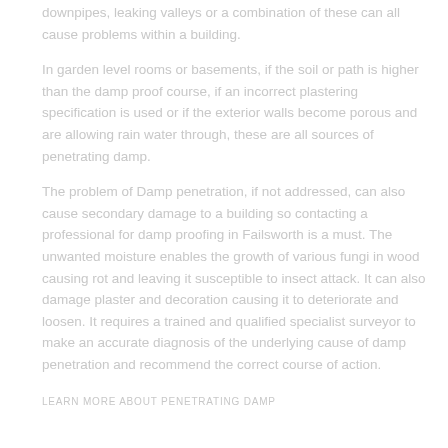downpipes, leaking valleys or a combination of these can all cause problems within a building.
In garden level rooms or basements, if the soil or path is higher than the damp proof course, if an incorrect plastering specification is used or if the exterior walls become porous and are allowing rain water through, these are all sources of penetrating damp.
The problem of Damp penetration, if not addressed, can also cause secondary damage to a building so contacting a professional for damp proofing in Failsworth is a must. The unwanted moisture enables the growth of various fungi in wood causing rot and leaving it susceptible to insect attack. It can also damage plaster and decoration causing it to deteriorate and loosen. It requires a trained and qualified specialist surveyor to make an accurate diagnosis of the underlying cause of damp penetration and recommend the correct course of action.
LEARN MORE ABOUT PENETRATING DAMP